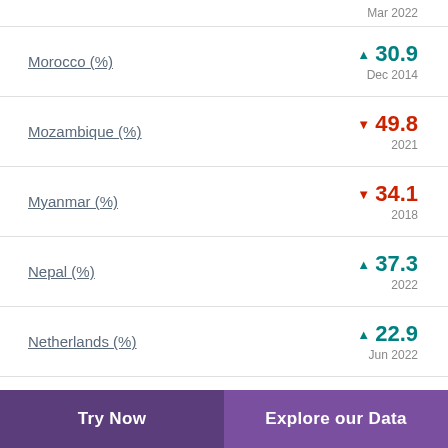Mar 2022
Morocco (%) ▲ 30.9 Dec 2014
Mozambique (%) ▼ 49.8 2021
Myanmar (%) ▼ 34.1 2018
Nepal (%) ▲ 37.3 2022
Netherlands (%) ▲ 22.9 Jun 2022
Try Now    Explore our Data